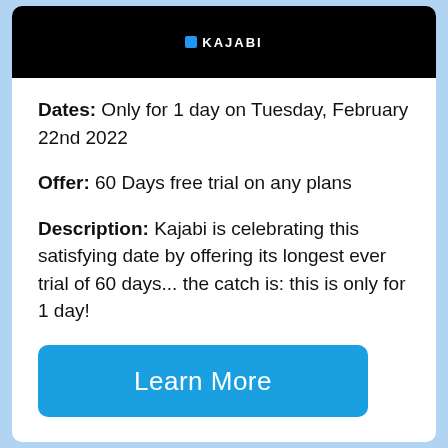[Figure (screenshot): Black banner with Kajabi logo (blue square icon and white text KAJABI)]
Dates: Only for 1 day on Tuesday, February 22nd 2022
Offer: 60 Days free trial on any plans
Description: Kajabi is celebrating this satisfying date by offering its longest ever trial of 60 days... the catch is: this is only for 1 day!
Learn More